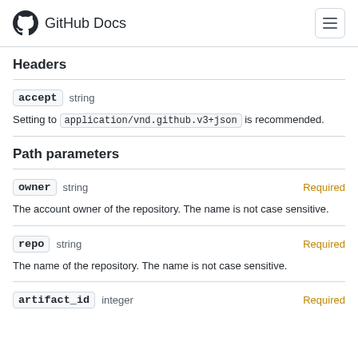GitHub Docs
Headers
accept   string
Setting to application/vnd.github.v3+json is recommended.
Path parameters
owner   string   Required
The account owner of the repository. The name is not case sensitive.
repo   string   Required
The name of the repository. The name is not case sensitive.
artifact_id   integer   Required